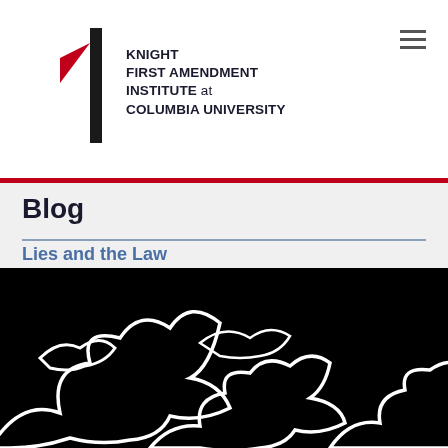[Figure (logo): Knight First Amendment Institute at Columbia University logo with red triangle and black vertical bar]
Blog
Lies and the Law
[Figure (illustration): Black and white illustration of abstract cloud shapes on black background]